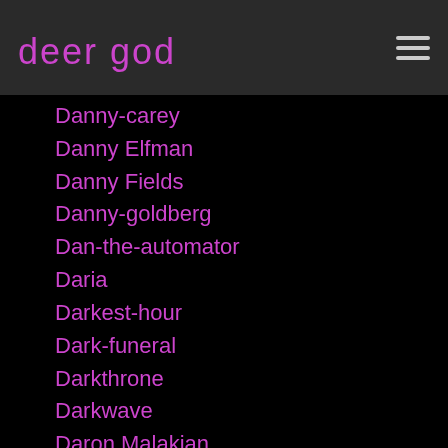deer god
Danny-carey
Danny Elfman
Danny Fields
Danny-goldberg
Dan-the-automator
Daria
Darkest-hour
Dark-funeral
Darkthrone
Darkwave
Daron Malakian
Darren-aronofsky
Darryl-mcdaniels
Daryl-jenifer
Daryl-palumbo
Dave-barker
Dave Fridmann